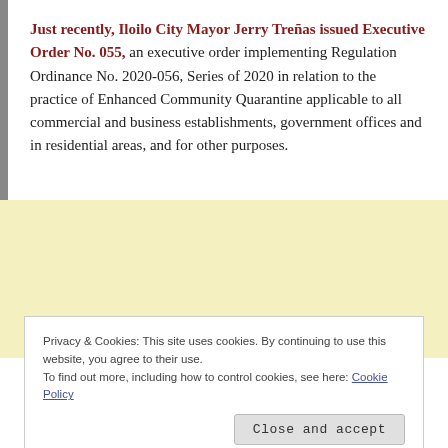Just recently, Iloilo City Mayor Jerry Treñas issued Executive Order No. 055, an executive order implementing Regulation Ordinance No. 2020-056, Series of 2020 in relation to the practice of Enhanced Community Quarantine applicable to all commercial and business establishments, government offices and in residential areas, and for other purposes.
[Figure (other): Yellow/cream colored advertisement or empty content area]
Privacy & Cookies: This site uses cookies. By continuing to use this website, you agree to their use.
To find out more, including how to control cookies, see here: Cookie Policy